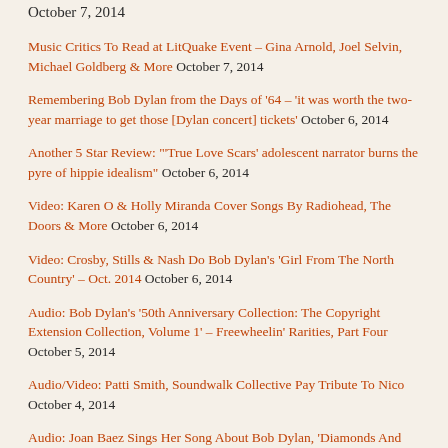October 7, 2014
Music Critics To Read at LitQuake Event – Gina Arnold, Joel Selvin, Michael Goldberg & More October 7, 2014
Remembering Bob Dylan from the Days of '64 – 'it was worth the two-year marriage to get those [Dylan concert] tickets' October 6, 2014
Another 5 Star Review: "'True Love Scars' adolescent narrator burns the pyre of hippie idealism" October 6, 2014
Video: Karen O & Holly Miranda Cover Songs By Radiohead, The Doors & More October 6, 2014
Video: Crosby, Stills & Nash Do Bob Dylan's 'Girl From The North Country' – Oct. 2014 October 6, 2014
Audio: Bob Dylan's '50th Anniversary Collection: The Copyright Extension Collection, Volume 1' – Freewheelin' Rarities, Part Four October 5, 2014
Audio/Video: Patti Smith, Soundwalk Collective Pay Tribute To Nico October 4, 2014
Audio: Joan Baez Sings Her Song About Bob Dylan, 'Diamonds And